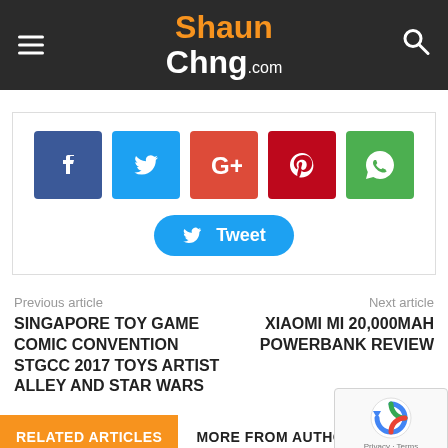ShaunChng.com
[Figure (infographic): Social share buttons: Facebook (blue), Twitter (light blue), Google+ (red-orange), Pinterest (dark red), WhatsApp (green), and a Tweet button below]
Previous article
SINGAPORE TOY GAME COMIC CONVENTION STGCC 2017 TOYS ARTIST ALLEY AND STAR WARS
Next article
XIAOMI MI 20,000MAH POWERBANK REVIEW
RELATED ARTICLES
MORE FROM AUTHOR